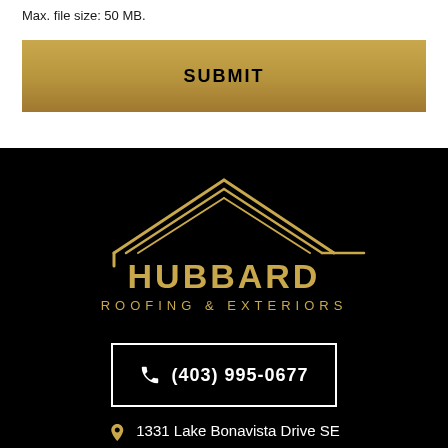Max. file size: 50 MB.
SUBMIT
[Figure (logo): Hubbard Roofing & Exteriors logo in gold on black background, featuring a house/roof outline above the text HUBBARD ROOFING & EXTERIORS]
(403) 995-0677
1331 Lake Bonavista Drive SE